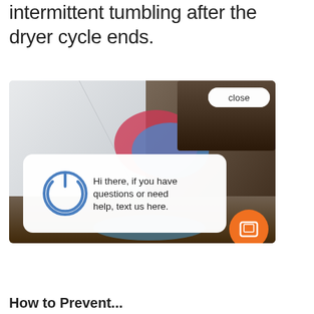intermittent tumbling after the dryer cycle ends.
[Figure (screenshot): Screenshot of a product page showing a person loading laundry into a dryer, with a chat popup overlay that says 'Hi there, if you have questions or need help, text us here.' and a close button, plus an orange mobile/text chat button in the bottom right corner.]
How to Prevent...